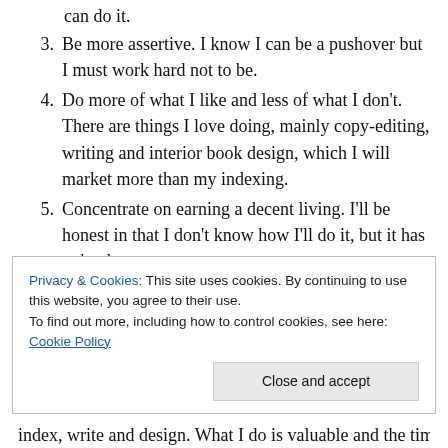can do it.
3. Be more assertive. I know I can be a pushover but I must work hard not to be.
4. Do more of what I like and less of what I don't. There are things I love doing, mainly copy-editing, writing and interior book design, which I will market more than my indexing.
5. Concentrate on earning a decent living. I'll be honest in that I don't know how I'll do it, but it has to be done.
Privacy & Cookies: This site uses cookies. By continuing to use this website, you agree to their use.
To find out more, including how to control cookies, see here: Cookie Policy
index, write and design. What I do is valuable and the time